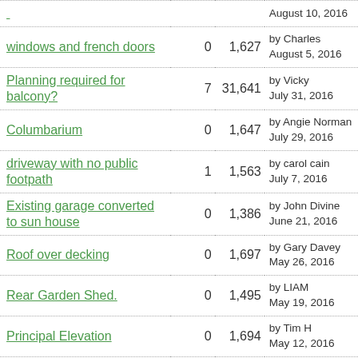| Topic | Replies | Views | Last Post |
| --- | --- | --- | --- |
| windows and french doors | 0 | 1,627 | by Charles
August 5, 2016 |
| Planning required for balcony? | 7 | 31,641 | by Vicky
July 31, 2016 |
| Columbarium | 0 | 1,647 | by Angie Norman
July 29, 2016 |
| driveway with no public footpath | 1 | 1,563 | by carol cain
July 7, 2016 |
| Existing garage converted to sun house | 0 | 1,386 | by John Divine
June 21, 2016 |
| Roof over decking | 0 | 1,697 | by Gary Davey
May 26, 2016 |
| Rear Garden Shed. | 0 | 1,495 | by LIAM
May 19, 2016 |
| Principal Elevation | 0 | 1,694 | by Tim H
May 12, 2016 |
| Tree house instead of an old shed | 0 | 1,448 | by Andy White
May 2, 2016 |